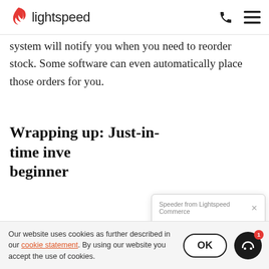lightspeed
system will notify you when you need to reorder stock. Some software can even automatically place those orders for you.
Wrapping up: Just-in-time inve... beginner
Just-in-time is strategy t...
[Figure (screenshot): Chat popup from Speeder (Lightspeed Commerce bot) saying 'Speeder here - Lightspeed's bot 👋 How can I help you today?' with a close X button]
Our website uses cookies as further described in our cookie statement. By using our website you accept the use of cookies.